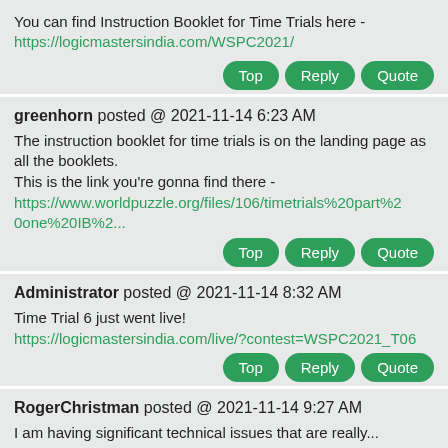You can find Instruction Booklet for Time Trials here - https://logicmastersindia.com/WSPC2021/
Top Reply Quote
greenhorn posted @ 2021-11-14 6:23 AM
The instruction booklet for time trials is on the landing page as all the booklets.
This is the link you're gonna find there -
https://www.worldpuzzle.org/files/106/timetrials%20part%20one%20IB%2...
Top Reply Quote
Administrator posted @ 2021-11-14 8:32 AM
Time Trial 6 just went live!
https://logicmastersindia.com/live/?contest=WSPC2021_T06
Top Reply Quote
RogerChristman posted @ 2021-11-14 9:27 AM
I am having significant technical issues that are really...